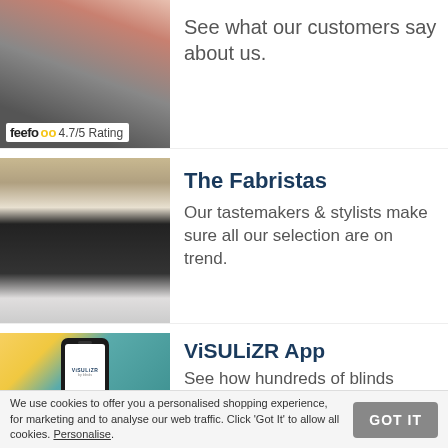[Figure (photo): Hand holding a smartphone, with a feefo 4.7/5 Rating badge overlaid at the bottom left]
See what our customers say about us.
[Figure (photo): Man in black turtleneck standing in a fabric/blinds shop, smiling]
The Fabristas
Our tastemakers & stylists make sure all our selection are on trend.
[Figure (photo): ViSULiZR app shown on a phone mockup against a teal background with fabric samples]
ViSULiZR App
See how hundreds of blinds will
We use cookies to offer you a personalised shopping experience, for marketing and to analyse our web traffic. Click ‘Got It’ to allow all cookies. Personalise.